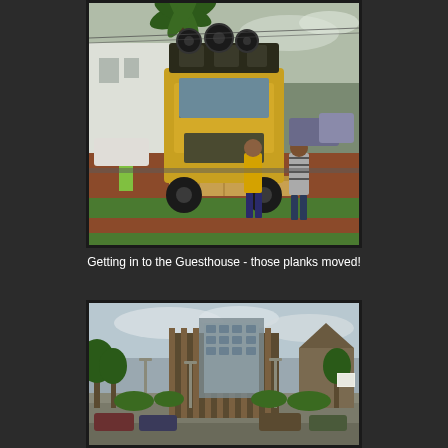[Figure (photo): A large yellow truck with equipment on top is navigating over wooden planks on muddy red dirt ground near a guesthouse entrance. Two people stand nearby watching; one wears a yellow shirt and the other a striped shirt. A white building and palm tree are visible in the background along with other parked vehicles.]
Getting in to the Guesthouse - those planks moved!
[Figure (photo): An outdoor urban scene showing a modern multi-story building complex with distinctive architectural features including vertical wooden or concrete fins on a main tower. The foreground shows a paved plaza area with cars, lamp posts, and some trees and shrubbery. The sky is overcast with clouds.]